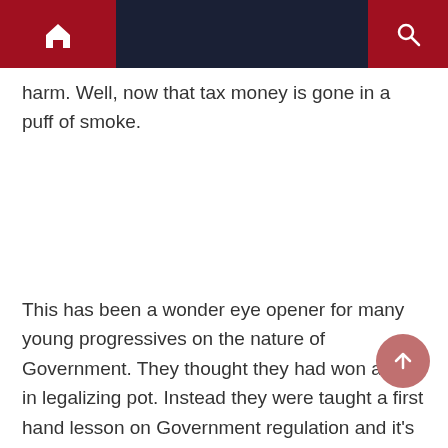Navigation bar with home icon, menu icon, and search icon
harm. Well, now that tax money is gone in a puff of smoke.
This has been a wonder eye opener for many young progressives on the nature of Government. They thought they had won a war in legalizing pot. Instead they were taught a first hand lesson on Government regulation and it's